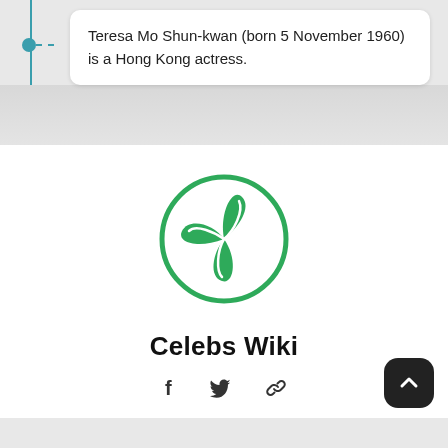Teresa Mo Shun-kwan (born 5 November 1960) is a Hong Kong actress.
[Figure (logo): Celebs Wiki green leaf logo inside a circle]
Celebs Wiki
[Figure (infographic): Social media icons: Facebook, Twitter, link/permalink]